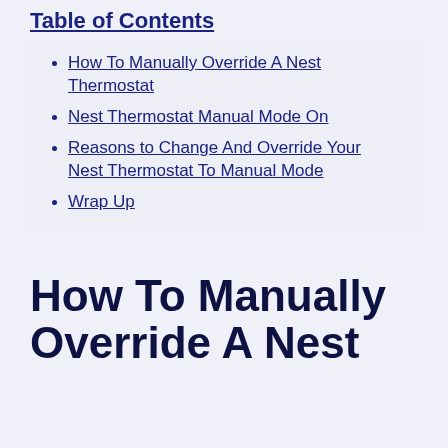Table of Contents
How To Manually Override A Nest Thermostat
Nest Thermostat Manual Mode On
Reasons to Change And Override Your Nest Thermostat To Manual Mode
Wrap Up
How To Manually Override A Nest